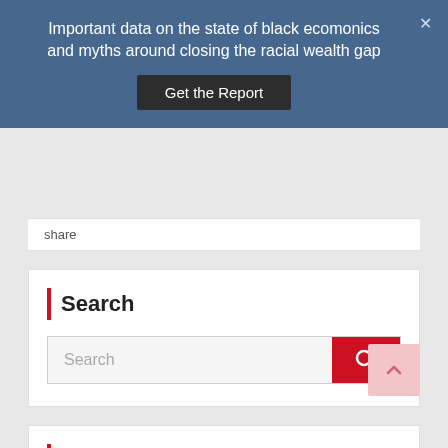Important data on the state of black ecomonics and myths around closing the racial wealth gap
Get the Report
share
Search
Search
Recent Posts
Richard Wolff Really Should Know Better
August 14, 2019
Kamala Harris' Jamaican Heritage — UPDATED — 14.01.2019 (copy)